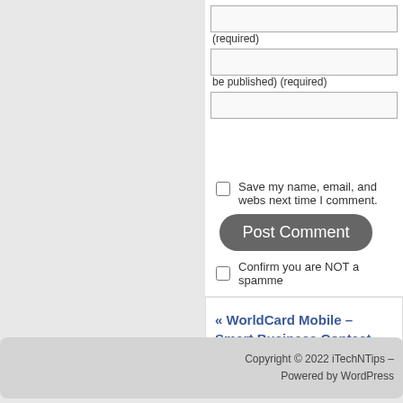(required)
be published) (required)
Save my name, email, and webs next time I comment.
Post Comment
Confirm you are NOT a spamme
« WorldCard Mobile – Smart Business Contact Management Tool
Copyright © 2022 iTechNTips –
Powered by WordPress